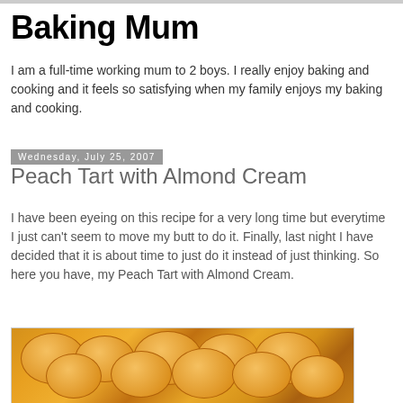Baking Mum
I am a full-time working mum to 2 boys. I really enjoy baking and cooking and it feels so satisfying when my family enjoys my baking and cooking.
Wednesday, July 25, 2007
Peach Tart with Almond Cream
I have been eyeing on this recipe for a very long time but everytime I just can't seem to move my butt to do it. Finally, last night I have decided that it is about time to just do it instead of just thinking. So here you have, my Peach Tart with Almond Cream.
[Figure (photo): Photo of a peach tart with almond cream, showing orange peach slices arranged on a cream-filled pastry base.]